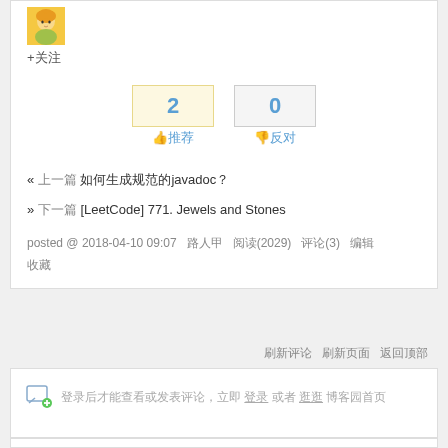[Figure (illustration): User avatar - cartoon character with yellow/orange hair]
+关注
2 推荐   0 反对
« 上一篇 如何生成规范的javadoc？
» 下一篇 [LeetCode] 771. Jewels and Stones
posted @ 2018-04-10 09:07  路人甲  阅读(2029)  评论(3)  编辑 收藏
刷新评论  刷新页面  返回顶部
登录后才能查看或发表评论，立即 登录 或者 逛逛 博客园首页